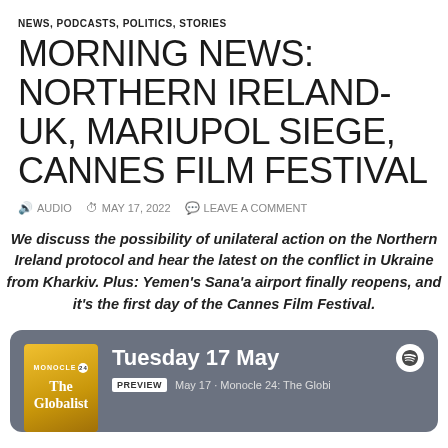NEWS, PODCASTS, POLITICS, STORIES
MORNING NEWS: NORTHERN IRELAND-UK, MARIUPOL SIEGE, CANNES FILM FESTIVAL
AUDIO  MAY 17, 2022  LEAVE A COMMENT
We discuss the possibility of unilateral action on the Northern Ireland protocol and hear the latest on the conflict in Ukraine from Kharkiv. Plus: Yemen's Sana'a airport finally reopens, and it's the first day of the Cannes Film Festival.
[Figure (screenshot): Spotify podcast card showing Monocle 24: The Globalist episode for Tuesday 17 May with a yellow podcast cover and Spotify logo]